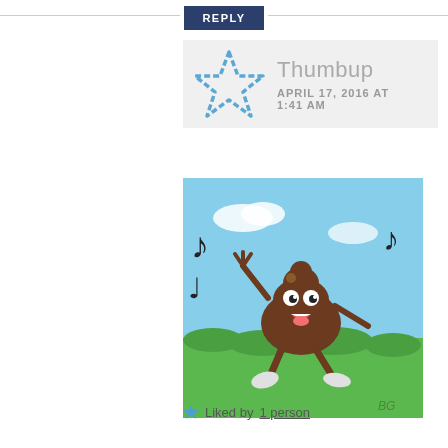REPLY
Thumbup
APRIL 17, 2016 AT 1:41 AM
[Figure (illustration): Cartoon dancing poop emoji character with eyes and open mouth, dancing on green grass with musical notes and blue sky background]
Liked by 1 person